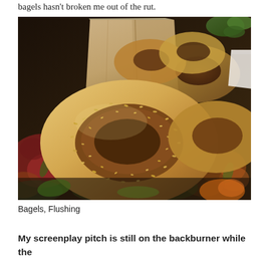bagels hasn't broken me out of the rut.
[Figure (photo): A bag of bagels, including a large seeded bagel in the foreground and others behind it, sitting on a floral tablecloth with a paper bag and green leaves in the background.]
Bagels, Flushing
My screenplay pitch is still on the backburner while the